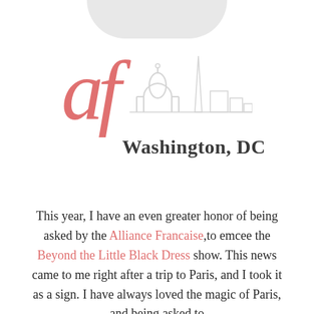[Figure (logo): Alliance Francaise Washington DC logo with stylized 'af' in coral/salmon italic serif font alongside a grey outline of Washington DC skyline (Capitol dome, Washington Monument, other buildings), with 'Washington, DC' text beneath]
This year, I have an even greater honor of being asked by the Alliance Francaise,to emcee the Beyond the Little Black Dress show. This news came to me right after a trip to Paris, and I took it as a sign. I have always loved the magic of Paris, and being asked to